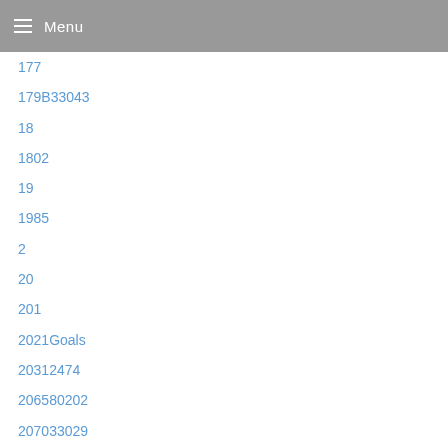Menu
177
179B33043
18
1802
19
1985
2
20
201
2021Goals
20312474
206580202
207033029
21
2133
22
23